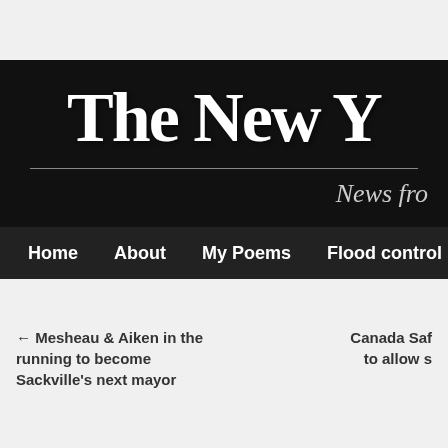[Figure (logo): The New [York Times] masthead logo in blackletter font on black background with subtitle 'News fro[m]']
Home  About  My Poems  Flood control  M[ore]
← Mesheau & Aiken in the running to become Sackville's next mayor
Canada Saf[ety Board] to allow s[omething]